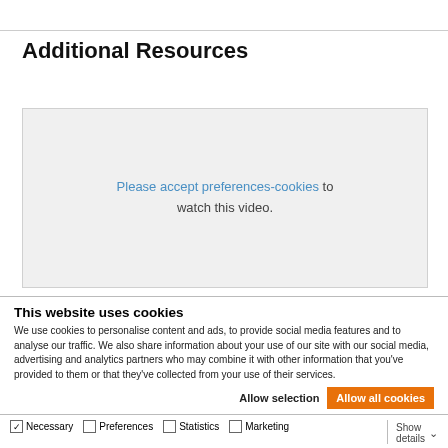Additional Resources
[Figure (other): Video placeholder with cookie consent message: 'Please accept preferences-cookies to watch this video.']
This website uses cookies
We use cookies to personalise content and ads, to provide social media features and to analyse our traffic. We also share information about your use of our site with our social media, advertising and analytics partners who may combine it with other information that you've provided to them or that they've collected from your use of their services.
Allow selection   Allow all cookies
Necessary  Preferences  Statistics  Marketing  Show details